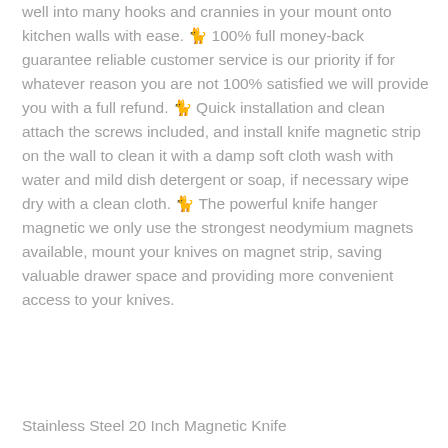well into many hooks and crannies in your mount onto kitchen walls with ease. 🐾 100% full money-back guarantee reliable customer service is our priority if for whatever reason you are not 100% satisfied we will provide you with a full refund. 🐾 Quick installation and clean attach the screws included, and install knife magnetic strip on the wall to clean it with a damp soft cloth wash with water and mild dish detergent or soap, if necessary wipe dry with a clean cloth. 🐾 The powerful knife hanger magnetic we only use the strongest neodymium magnets available, mount your knives on magnet strip, saving valuable drawer space and providing more convenient access to your knives.
Stainless Steel 20 Inch Magnetic Knife